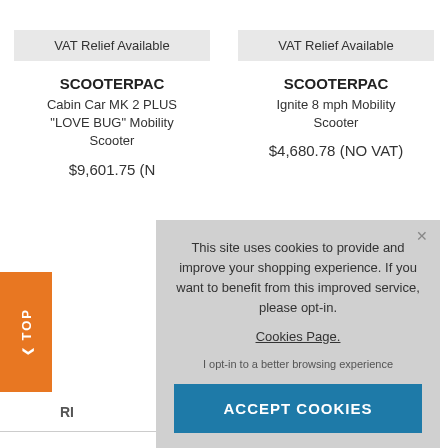VAT Relief Available
SCOOTERPAC
Cabin Car MK 2 PLUS "LOVE BUG" Mobility Scooter
$9,601.75 (N...
VAT Relief Available
SCOOTERPAC
Ignite 8 mph Mobility Scooter
$4,680.78 (NO VAT)
TOP
RI
This site uses cookies to provide and improve your shopping experience. If you want to benefit from this improved service, please opt-in. Cookies Page.
I opt-in to a better browsing experience
ACCEPT COOKIES